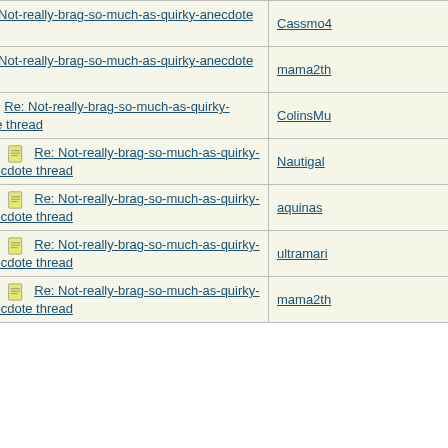| Subject | Author |
| --- | --- |
| Re: Not-really-brag-so-much-as-quirky-anecdote thread | Cassmo4 |
| Re: Not-really-brag-so-much-as-quirky-anecdote thread | mama2th |
| Re: Not-really-brag-so-much-as-quirky-anecdote thread | ColinsMu |
| Re: Not-really-brag-so-much-as-quirky-anecdote thread | Nautigal |
| Re: Not-really-brag-so-much-as-quirky-anecdote thread | aquinas |
| Re: Not-really-brag-so-much-as-quirky-anecdote thread | ultramari |
| Re: Not-really-brag-so-much-as-quirky-anecdote thread | mama2th |